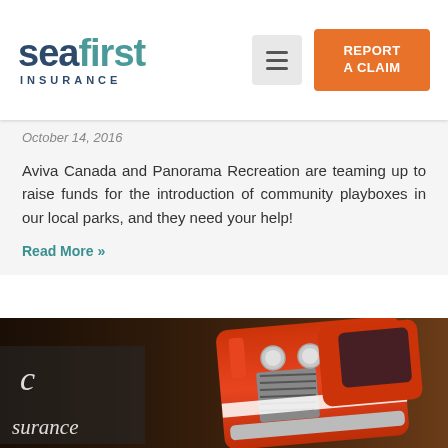[Figure (logo): Seafirst Insurance logo with seabird icon, 'seafirst' in navy/teal and 'INSURANCE' in navy below]
October 14, 2016
Aviva Canada and Panorama Recreation are teaming up to raise funds for the introduction of community playboxes in our local parks, and they need your help!
Read More »
[Figure (photo): A red vintage toy/model car shown upside down or at an angle, with a dark brown blurred background. Partial text overlay on left shows 'c' and 'surance' in white italic on a semi-transparent dark panel.]